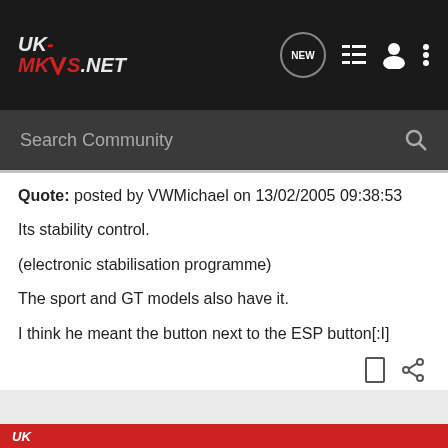UK-MKVS.NET [navigation bar with NEW, list, user, and more icons]
Search Community
Quote: posted by VWMichael on 13/02/2005 09:38:53
Its stability control.
(electronic stabilisation programme)
The sport and GT models also have it.
I think he meant the button next to the ESP button[:I]